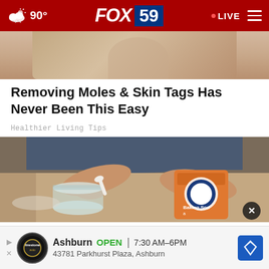FOX 59 — 90° — LIVE
[Figure (photo): Partial view of a person, cropped top portion, tan/skin tones visible]
Removing Moles & Skin Tags Has Never Been This Easy
Healthier Living Tips
[Figure (photo): Person holding a box of Arm & Hammer Baking Soda and using a small white spoon to scoop from a glass jar on a countertop]
[Figure (infographic): Advertisement banner: Ashburn OPEN 7:30AM-6PM, 43781 Parkhurst Plaza, Ashburn — Firestone Auto logo and navigation icon]